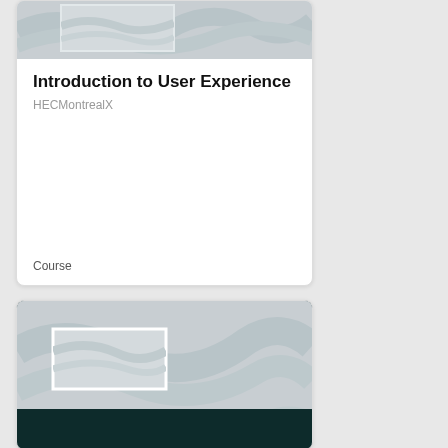[Figure (screenshot): Course card for Introduction to User Experience showing a placeholder thumbnail image with wavy contour pattern]
Introduction to User Experience
HECMontrealX
Course
[Figure (screenshot): Second course card with dark teal bottom bar and a placeholder thumbnail image with wavy contour pattern]